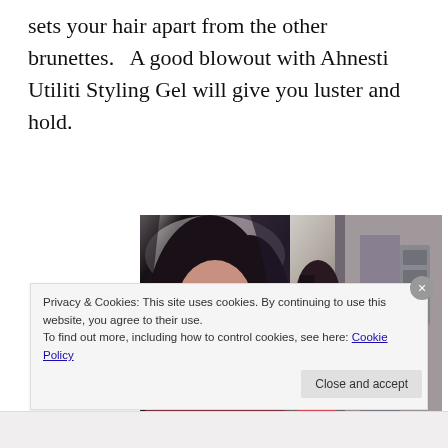sets your hair apart from the other brunettes.   A good blowout with Ahnesti Utiliti Styling Gel will give you luster and hold.
[Figure (photo): Two side-by-side photos of a dark-haired woman: left photo shows her face with sunglasses and long dark hair; right photo shows her from behind/side wearing a floral dress.]
Privacy & Cookies: This site uses cookies. By continuing to use this website, you agree to their use.
To find out more, including how to control cookies, see here: Cookie Policy
Close and accept